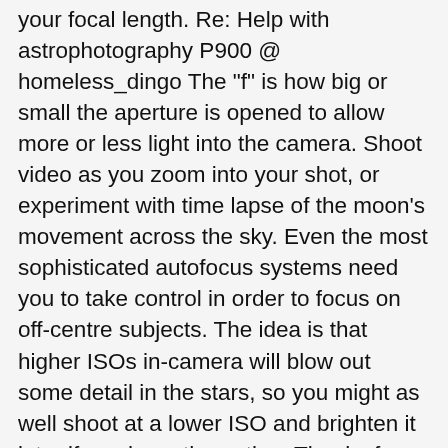your focal length. Re: Help with astrophotography P900 @ homeless_dingo The "f" is how big or small the aperture is opened to allow more or less light into the camera. Shoot video as you zoom into your shot, or experiment with time lapse of the moon's movement across the sky. Even the most sophisticated autofocus systems need you to take control in order to focus on off-centre subjects. The idea is that higher ISOs in-camera will blow out some detail in the stars, so you might as well shoot at a lower ISO and brighten it later if you have the option. Thanks for the heads up about the Samyang 135mm f/2! Luckily, we have an article on photographing the moon by itself: photographylife.com/lands…graph-moon, And we even have a specific article on photographing the lunar eclipse: photographylife.com/lands…ar-eclipse, Hello Spencer Thanks for the tips. Focal length 539 mm (35 mm FL 3000 mm), Manual movie dial position, UHD 2160p mode 30 FPS. Other photographers don't mind star movement as much, and they're more willing to push the shutter speed in the 20-30 second range for the